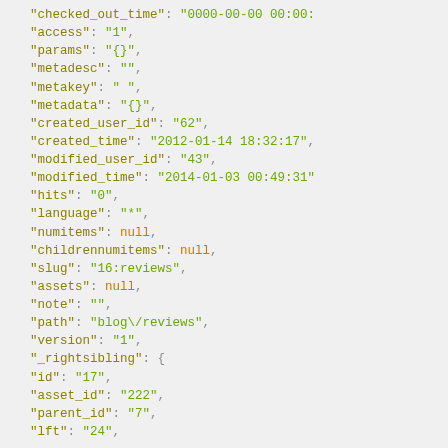JSON code snippet showing properties: checked_out_time, access, params, metadesc, metakey, metadata, created_user_id, created_time, modified_user_id, modified_time, hits, language, numitems, childrennumitems, slug, assets, note, path, version, _rightsibling with id, asset_id, parent_id, lft